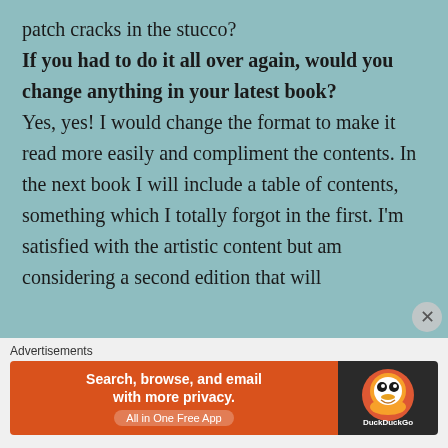patch cracks in the stucco?
If you had to do it all over again, would you change anything in your latest book?
Yes, yes! I would change the format to make it read more easily and compliment the contents. In the next book I will include a table of contents, something which I totally forgot in the first. I'm satisfied with the artistic content but am considering a second edition that will
Advertisements
[Figure (infographic): DuckDuckGo advertisement banner: 'Search, browse, and email with more privacy. All in One Free App' on orange background with DuckDuckGo logo on dark background.]